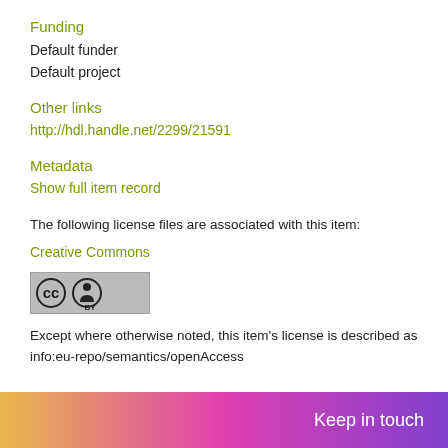Funding
Default funder
Default project
Other links
http://hdl.handle.net/2299/21591
Metadata
Show full item record
The following license files are associated with this item:
Creative Commons
[Figure (logo): Creative Commons BY license badge — circular CC logo and person icon on grey background with 'BY' text]
Except where otherwise noted, this item's license is described as info:eu-repo/semantics/openAccess
Keep in touch